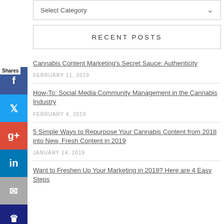Select Category
RECENT POSTS
Shares
Cannabis Content Marketing's Secret Sauce: Authenticity
FEBRUARY 11, 2019
How-To: Social Media Community Management in the Cannabis Industry
FEBRUARY 4, 2019
5 Simple Ways to Repurpose Your Cannabis Content from 2018 into New, Fresh Content in 2019
JANUARY 14, 2019
Want to Freshen Up Your Marketing in 2019? Here are 4 Easy Steps